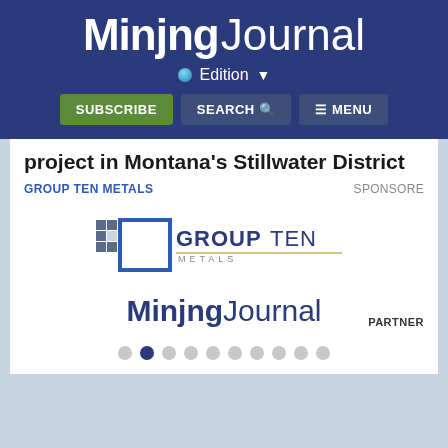Mining Journal
Edition
SUBSCRIBE  SEARCH  ☰ MENU
project in Montana's Stillwater District
GROUP TEN METALS
SPONSORED
[Figure (logo): Group Ten Metals logo with square bracket icon and company name]
[Figure (logo): Mining Journal logo in navy blue]
PARTNER